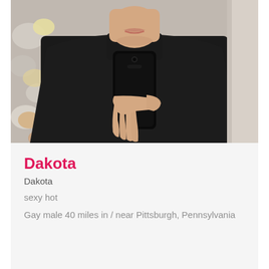[Figure (photo): Mirror selfie of a young man wearing a black high-collar jacket/shirt, holding a black smartphone. Background shows a decorative wallpaper with floral/butterfly pattern in gray and yellow tones.]
Dakota
Dakota
sexy hot
Gay male 40 miles in / near Pittsburgh, Pennsylvania